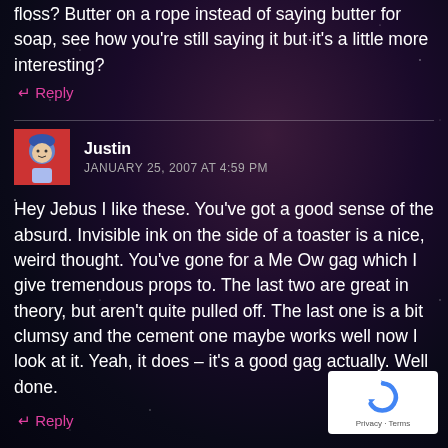floss? Butter on a rope instead of saying butter for soap, see how you're still saying it but it's a little more interesting?
Reply
Justin
JANUARY 25, 2007 AT 4:59 PM
Hey Jebus I like these. You've got a good sense of the absurd. Invisible ink on the side of a toaster is a nice, weird thought. You've gone for a Me Ow gag which I give tremendous props to. The last two are great in theory, but aren't quite pulled off. The last one is a bit clumsy and the cement one maybe works well now I look at it. Yeah, it does – it's a good gag actually. Well done.
Reply